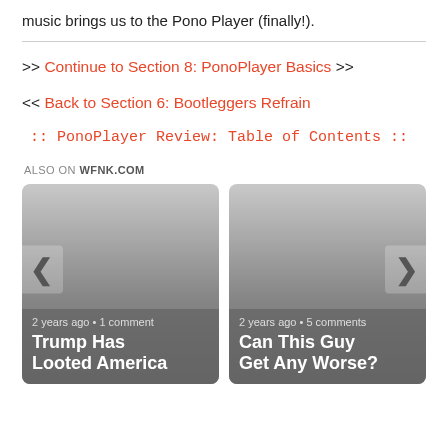music brings us to the Pono Player (finally!).
Continue to Section 8: PonoPlayer Basics >>
<< Back to Section 6: Bootleggers Refrain
:: PonoPlayer Review: Table of Contents ::
ALSO ON WFNK.COM
[Figure (other): Card thumbnail with left chevron arrow, meta text '2 years ago • 1 comment', and title 'Trump Has Looted America']
[Figure (other): Card thumbnail with right chevron arrow, meta text '2 years ago • 5 comments', and title 'Can This Guy Get Any Worse?']